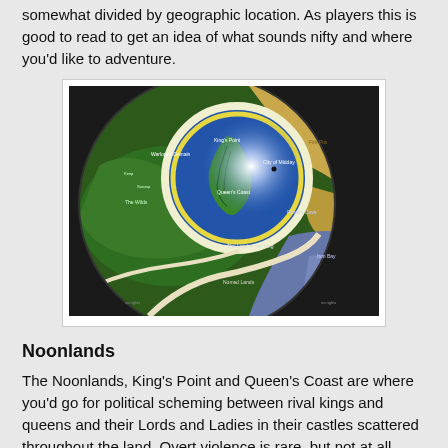somewhat divided by geographic location. As players this is good to read to get an idea of what sounds nifty and where you'd like to adventure.
[Figure (map): A fantasy world map showing colored regions including green forested areas, a blue circular region (likely a magical or special zone), tan/gold desert areas, and grey-blue coastal/water areas. The map features location labels including King's Point, Queen's Coast, The Land of the King, and other place names. A white glowing circle dominates the upper-center of the map.]
Noonlands
The Noonlands, King's Point and Queen's Coast are where you'd go for political scheming between rival kings and queens and their Lords and Ladies in their castles scattered throughout the land. Overt violence is rare, but not at all unheard of, and there's plenty of fleeing to mountain